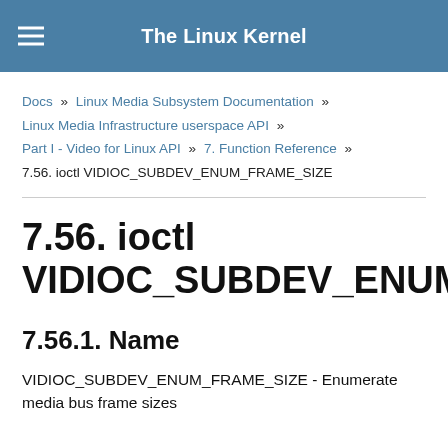The Linux Kernel
Docs » Linux Media Subsystem Documentation » Linux Media Infrastructure userspace API » Part I - Video for Linux API » 7. Function Reference » 7.56. ioctl VIDIOC_SUBDEV_ENUM_FRAME_SIZE
7.56. ioctl VIDIOC_SUBDEV_ENUM_FRAME_SIZE
7.56.1. Name
VIDIOC_SUBDEV_ENUM_FRAME_SIZE - Enumerate media bus frame sizes